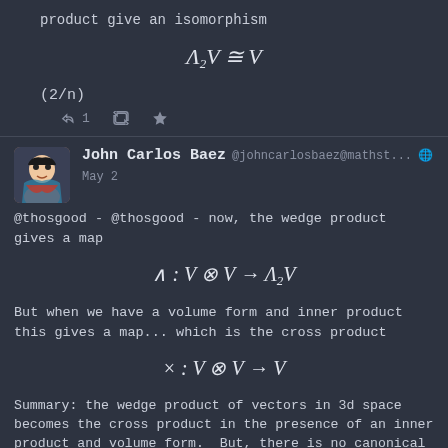product give an isomorphism
(2/n)
John Carlos Baez @johncarlosbaez@mathst... May 2
@thosgood - @thosgood - now, the wedge product gives a map
But when we have a volume form and inner product this gives a map... which is the cross product
Summary: the wedge product of vectors in 3d space becomes the cross product in the presence of an inner product and volume form. But, there is no canonical map × : V ⊗ V → V unless we give V